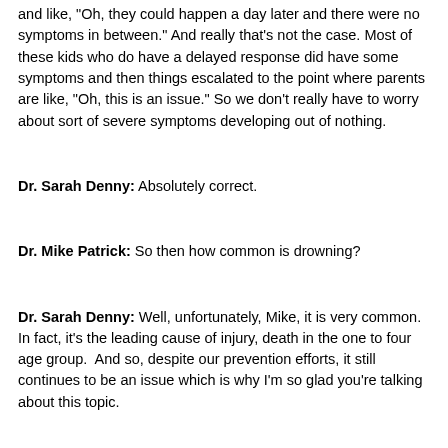and like, "Oh, they could happen a day later and there were no symptoms in between." And really that's not the case. Most of these kids who do have a delayed response did have some symptoms and then things escalated to the point where parents are like, "Oh, this is an issue." So we don't really have to worry about sort of severe symptoms developing out of nothing.
Dr. Sarah Denny: Absolutely correct.
Dr. Mike Patrick: So then how common is drowning?
Dr. Sarah Denny: Well, unfortunately, Mike, it is very common. In fact, it's the leading cause of injury, death in the one to four age group.  And so, despite our prevention efforts, it still continues to be an issue which is why I'm so glad you're talking about this topic.
0:08:00
We actually see another peak in adolescents for totally different reasons, right? So our one to four-year-olds are curious. They're very impulsive. They don't realize the dangers of the water. We can't...